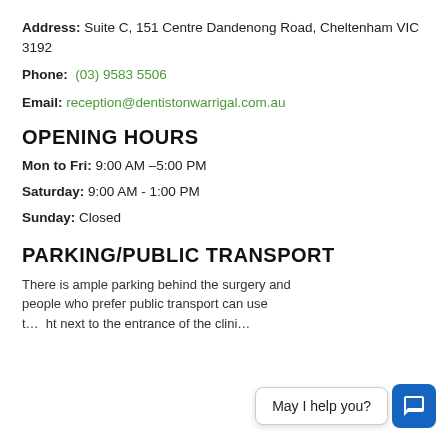Address: Suite C, 151 Centre Dandenong Road, Cheltenham VIC 3192
Phone: (03) 9583 5506
Email: reception@dentistonwarrigal.com.au
OPENING HOURS
Mon to Fri: 9:00 AM –5:00 PM
Saturday: 9:00 AM - 1:00 PM
Sunday: Closed
PARKING/PUBLIC TRANSPORT
There is ample parking behind the surgery and people who prefer public transport can use … to … next to the entrance of the clinic.
May I help you?